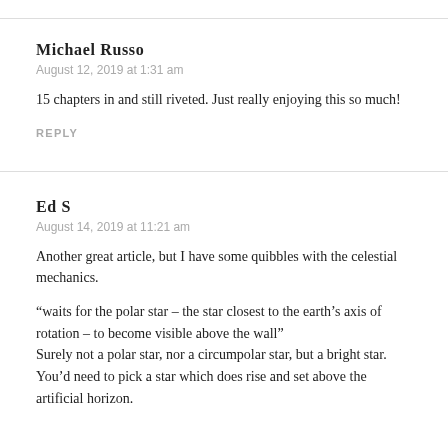Michael Russo
August 12, 2019 at 1:31 am
15 chapters in and still riveted. Just really enjoying this so much!
REPLY
Ed S
August 14, 2019 at 11:21 am
Another great article, but I have some quibbles with the celestial mechanics.
“waits for the polar star – the star closest to the earth’s axis of rotation – to become visible above the wall”
Surely not a polar star, nor a circumpolar star, but a bright star.
You’d need to pick a star which does rise and set above the artificial horizon.